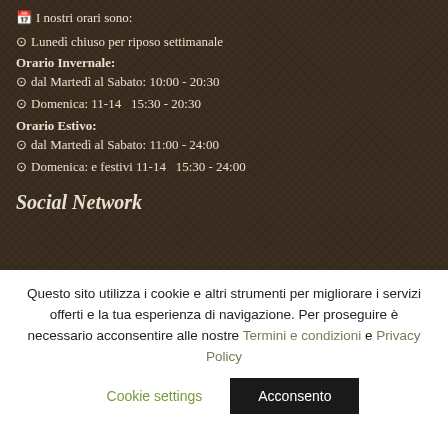I nostri orari sono:
Lunedì chiuso per riposo settimanale
Orario Invernale:
dal Martedì al Sabato: 10:00 - 20:30
Domenica: 11-14   15:30 - 20:30
Orario Estivo:
dal Martedì al Sabato: 11:00 - 24:00
Domenica: e festivi 11-14   15:30 - 24:00
Social Network
Questo sito utilizza i cookie e altri strumenti per migliorare i servizi offerti e la tua esperienza di navigazione. Per proseguire è necessario acconsentire alle nostre Termini e condizioni e Privacy Policy